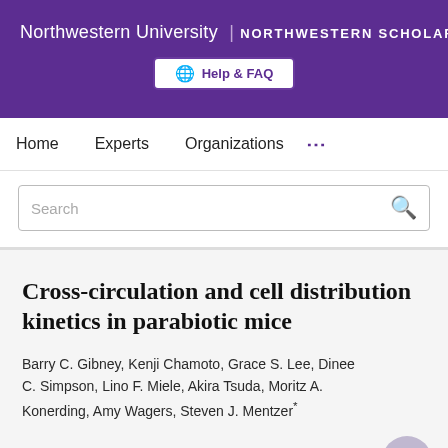Northwestern University | NORTHWESTERN SCHOLARS
Help & FAQ
Home   Experts   Organizations   ...
Search
Cross-circulation and cell distribution kinetics in parabiotic mice
Barry C. Gibney, Kenji Chamoto, Grace S. Lee, Dinee C. Simpson, Lino F. Miele, Akira Tsuda, Moritz A. Konerding, Amy Wagers, Steven J. Mentzer*